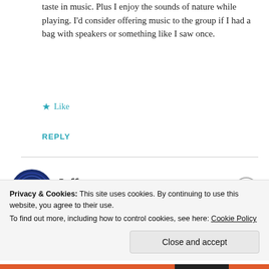taste in music. Plus I enjoy the sounds of nature while playing. I'd consider offering music to the group if I had a bag with speakers or something like I saw once.
Like
REPLY
Jeff
Privacy & Cookies: This site uses cookies. By continuing to use this website, you agree to their use. To find out more, including how to control cookies, see here: Cookie Policy
Close and accept